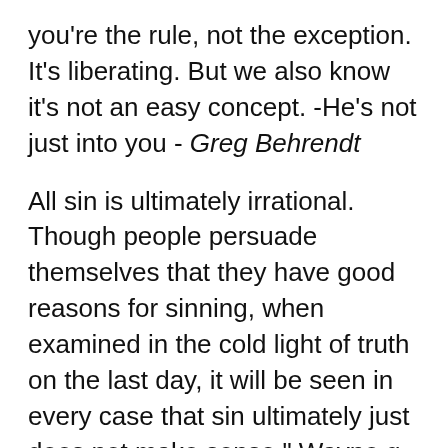you're the rule, not the exception. It's liberating. But we also know it's not an easy concept. -He's not just into you - Greg Behrendt
All sin is ultimately irrational. Though people persuade themselves that they have good reasons for sinning, when examined in the cold light of truth on the last day, it will be seen in every case that sin ultimately just does not make sense." Wayne g - Wayne A. Grudem
A true friend will never stand in your allotted beam of light. They will get out of the way so you can grow, but they'll stay